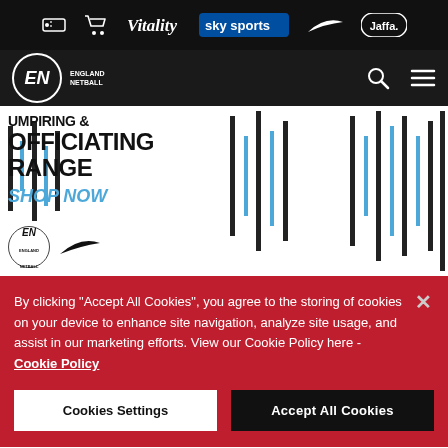Sponsor bar: ticket icon, cart icon, Vitality, sky sports, Nike swoosh, Jaffa
England Netball navigation bar with logo, search icon, menu icon
[Figure (screenshot): England Netball hero banner showing 'Umpiring & Officiating Range SHOP NOW' with England Netball and Nike logos, decorative vertical stripes and netball player in white kit]
By clicking "Accept All Cookies", you agree to the storing of cookies on your device to enhance site navigation, analyze site usage, and assist in our marketing efforts. View our Cookie Policy here - Cookie Policy
Cookies Settings
Accept All Cookies